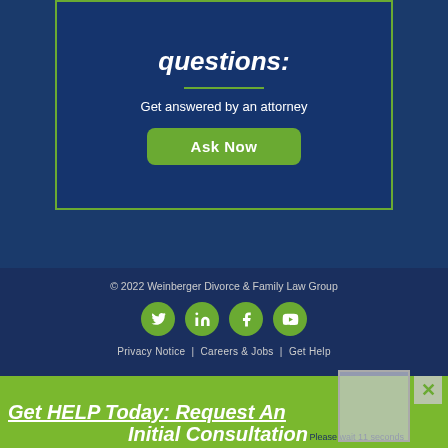questions:
Get answered by an attorney
Ask Now
© 2022 Weinberger Divorce & Family Law Group
[Figure (illustration): Social media icons: Twitter, LinkedIn, Facebook, YouTube — circular green buttons]
Privacy Notice  |  Careers & Jobs  |  Get Help
Get HELP Today: Request An Initial Consultation
Please wait 11 seconds